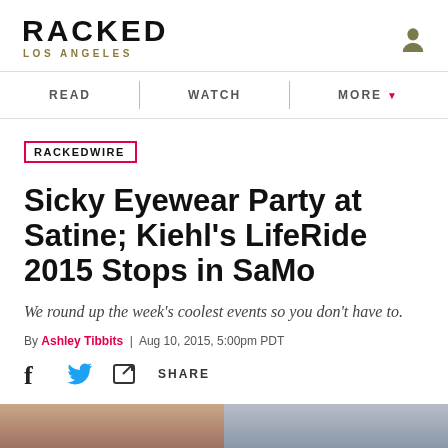RACKED LOS ANGELES
READ | WATCH | MORE
RACKEDWIRE
Sicky Eyewear Party at Satine; Kiehl's LifeRide 2015 Stops in SaMo
We round up the week's coolest events so you don't have to.
By Ashley Tibbits | Aug 10, 2015, 5:00pm PDT
SHARE
[Figure (photo): Bottom strip showing partial images of people at the bottom of the page]